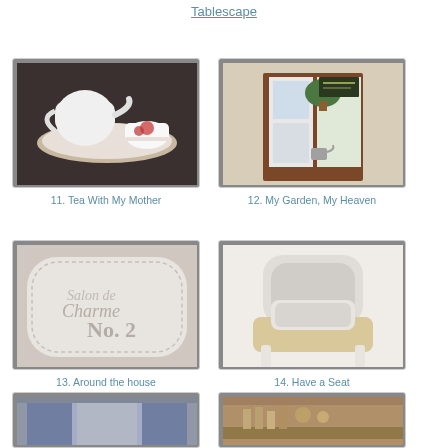Tablescape
[Figure (photo): Close-up of a white teapot and floral teacup with saucer on a dark background]
11. Tea With My Mother
[Figure (photo): Garden entrance with wooden door, potted plants, and watering can]
12. My Garden, My Heaven
[Figure (photo): Close-up of decorative pillow with French script text and No. 2]
13. Around the house
[Figure (photo): White French provincial armchair with cushion]
14. Have a Seat
[Figure (photo): Room with curtains and furniture partially visible]
[Figure (photo): Wooden furniture or shelf with items on top, partially visible]